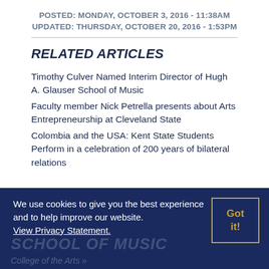POSTED: MONDAY, OCTOBER 3, 2016 - 11:38AM
UPDATED: THURSDAY, OCTOBER 20, 2016 - 1:53PM
RELATED ARTICLES
Timothy Culver Named Interim Director of Hugh A. Glauser School of Music
Faculty member Nick Petrella presents about Arts Entrepreneurship at Cleveland State
Colombia and the USA: Kent State Students Perform in a celebration of 200 years of bilateral relations
We use cookies to give you the best experience and to help improve our website. View Privacy Statement. Got it! SCHOOL OF MUSIC College of the Arts »